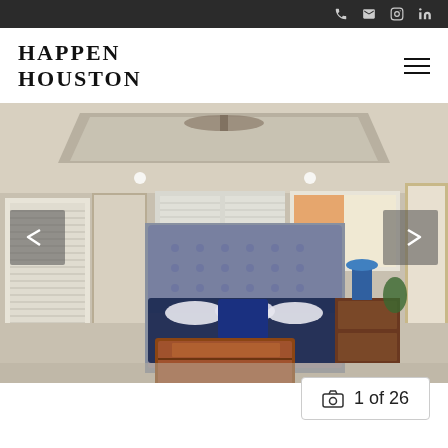HAPPEN HOUSTON — navigation bar with phone, email, Instagram, LinkedIn icons
HAPPEN HOUSTON
[Figure (photo): Interior bedroom photo showing a master bedroom with tufted headboard bed with blue bedding, wooden chest at foot of bed, tray ceiling with ceiling fan, large windows with blinds, nightstand with blue lamp, and framed artwork on wall. Navigation arrows on left and right sides.]
1 of 26